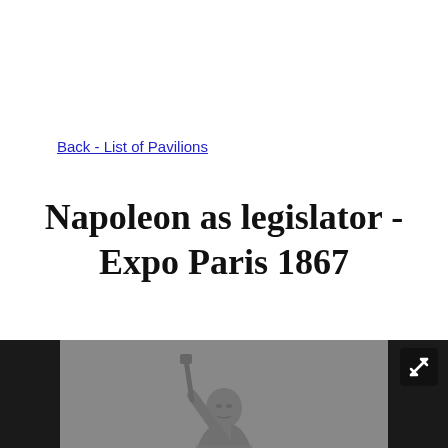Back - List of Pavilions
Napoleon as legislator - Expo Paris 1867
[Figure (photo): Black and white photograph of a statue of Napoleon as legislator, displayed at Expo Paris 1867. The statue shows Napoleon in a toga-like robe holding a staff aloft. The image is displayed in a dark framed viewer with an expand/fullscreen button in the top-right corner.]